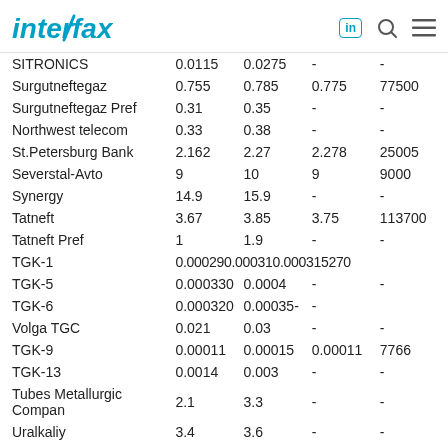Interfax
| Company | Col1 | Col2 | Col3 | Col4 |
| --- | --- | --- | --- | --- |
| SITRONICS | 0.0115 | 0.0275 | - | - |
| Surgutneftegaz | 0.755 | 0.785 | 0.775 | 77500 |
| Surgutneftegaz Pref | 0.31 | 0.35 | - | - |
| Northwest telecom | 0.33 | 0.38 | - | - |
| St.Petersburg Bank | 2.162 | 2.27 | 2.278 | 25005 |
| Severstal-Avto | 9 | 10 | 9 | 9000 |
| Synergy | 14.9 | 15.9 | - | - |
| Tatneft | 3.67 | 3.85 | 3.75 | 113700 |
| Tatneft Pref | 1 | 1.9 | - | - |
| TGK-1 | 0.000290 | 0.000310 | 0.000315270 |  |
| TGK-5 | 0.000330 | 0.0004 | - | - |
| TGK-6 | 0.000320 | 0.00035 | - | - |
| Volga TGC | 0.021 | 0.03 | - | - |
| TGK-9 | 0.00011 | 0.00015 | 0.00011 | 7766 |
| TGK-13 | 0.0014 | 0.003 | - | - |
| Tubes Metallurgic Compan | 2.1 | 3.3 | - | - |
| Uralkaliy | 3.4 | 3.6 | - | - |
| MDM Bank Pref | 0.38 | 0.485 |  |  |